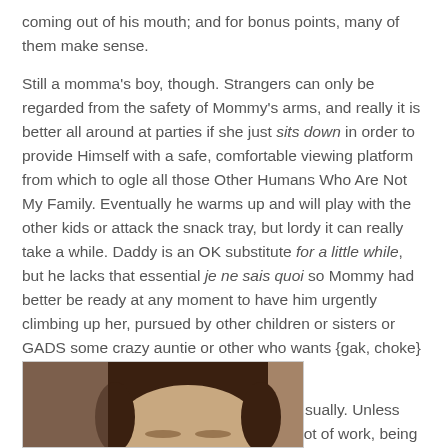coming out of his mouth; and for bonus points, many of them make sense.
Still a momma’s boy, though. Strangers can only be regarded from the safety of Mommy’s arms, and really it is better all around at parties if she just sits down in order to provide Himself with a safe, comfortable viewing platform from which to ogle all those Other Humans Who Are Not My Family. Eventually he warms up and will play with the other kids or attack the snack tray, but lordy it can really take a while. Daddy is an OK substitute for a little while, but he lacks that essential je ne sais quoi so Mommy had better be ready at any moment to have him urgently climbing up her, pursued by other children or sisters or GADS some crazy auntie or other who wants {gak, choke} KISSES!
Kisses from Mommy, however, are OK. Usually. Unless he’s, you know, busy. Because it’s still a lot of work, being Captain Adventure…
[Figure (photo): Partial photo of a child, cropped at bottom of page, showing top of head with dark hair against a warm brown background.]